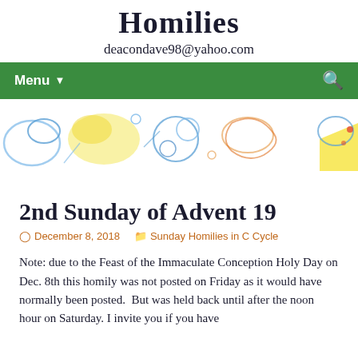Homilies
deacondave98@yahoo.com
Menu
[Figure (illustration): Colorful decorative banner illustration with abstract doodles of circles, swirls, and shapes in blue, yellow, orange, and other colors on a white background.]
2nd Sunday of Advent 19
December 8, 2018   Sunday Homilies in C Cycle
Note: due to the Feast of the Immaculate Conception Holy Day on Dec. 8th this homily was not posted on Friday as it would have normally been posted.  But was held back until after the noon hour on Saturday. I invite you if you have